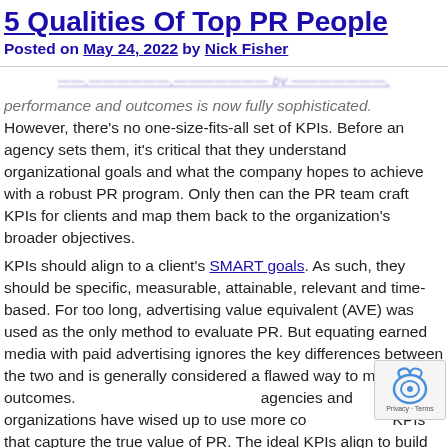5 Qualities Of Top PR People
Posted on May 24, 2022 by Nick Fisher
performance and outcomes is now fully sophisticated.
However, there's no one-size-fits-all set of KPIs. Before an agency sets them, it's critical that they understand organizational goals and what the company hopes to achieve with a robust PR program. Only then can the PR team craft KPIs for clients and map them back to the organization's broader objectives.
KPIs should align to a client's SMART goals. As such, they should be specific, measurable, attainable, relevant and time-based. For too long, advertising value equivalent (AVE) was used as the only method to evaluate PR. But equating earned media with paid advertising ignores the key differences between the two and is generally considered a flawed way to measure outcomes. agencies and organizations have wised up to use more co KPIs that capture the true value of PR. The ideal KPIs align to build